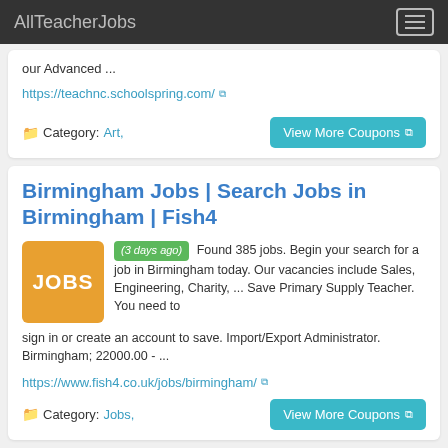AllTeacherJobs
our Advanced ...
https://teachnc.schoolspring.com/
Category: Art,
Birmingham Jobs | Search Jobs in Birmingham | Fish4
(3 days ago) Found 385 jobs. Begin your search for a job in Birmingham today. Our vacancies include Sales, Engineering, Charity, ... Save Primary Supply Teacher. You need to sign in or create an account to save. Import/Export Administrator. Birmingham; 22000.00 - ...
https://www.fish4.co.uk/jobs/birmingham/
Category: Jobs,